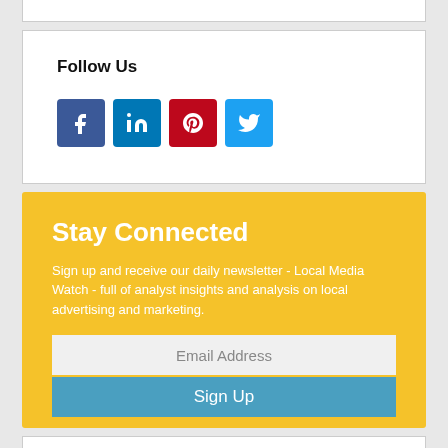Follow Us
[Figure (infographic): Four social media icon buttons: Facebook (blue), LinkedIn (blue), Pinterest (red), Twitter (light blue)]
Stay Connected
Sign up and receive our daily newsletter - Local Media Watch - full of analyst insights and analysis on local advertising and marketing.
Email Address
Sign Up